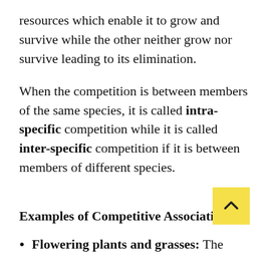resources which enable it to grow and survive while the other neither grow nor survive leading to its elimination.
When the competition is between members of the same species, it is called intra-specific competition while it is called inter-specific competition if it is between members of different species.
Examples of Competitive Associations
Flowering plants and grasses: The